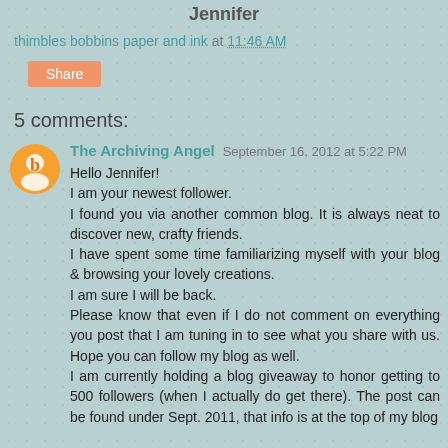Jennifer
thimbles bobbins paper and ink at 11:46 AM
Share
5 comments:
The Archiving Angel  September 16, 2012 at 5:22 PM
Hello Jennifer!
I am your newest follower.
I found you via another common blog. It is always neat to discover new, crafty friends.
I have spent some time familiarizing myself with your blog & browsing your lovely creations.
I am sure I will be back.
Please know that even if I do not comment on everything you post that I am tuning in to see what you share with us. Hope you can follow my blog as well.
I am currently holding a blog giveaway to honor getting to 500 followers (when I actually do get there). The post can be found under Sept. 2011, that info is at the top of my blog